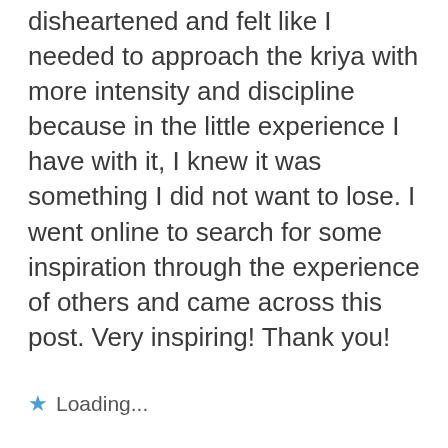disheartened and felt like I needed to approach the kriya with more intensity and discipline because in the little experience I have with it, I knew it was something I did not want to lose. I went online to search for some inspiration through the experience of others and came across this post. Very inspiring! Thank you!
★ Loading...
REPLY